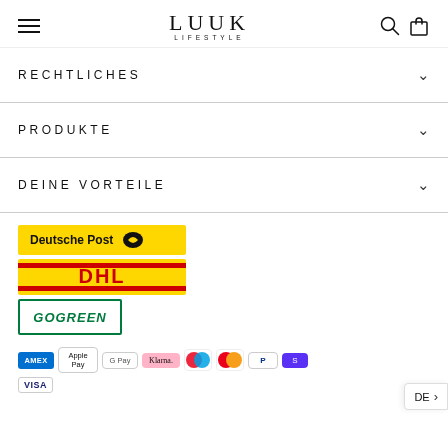LUUK LIFESTYLE
RECHTLICHES
PRODUKTE
DEINE VORTEILE
[Figure (logo): Deutsche Post logo on yellow background]
[Figure (logo): DHL logo on yellow background]
[Figure (logo): GoGreen logo with green border]
[Figure (logo): Payment method logos: AMEX, Apple Pay, Google Pay, Klarna, Maestro, Mastercard, PayPal, Shopify Pay, VISA]